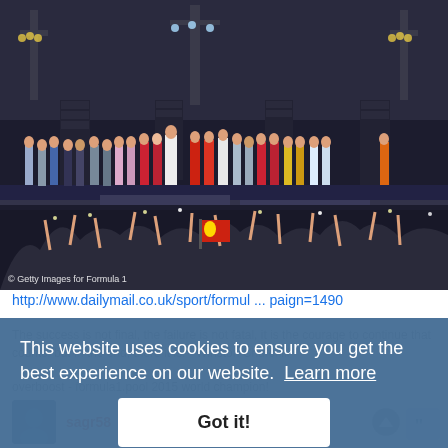[Figure (photo): Large group photo of Formula 1 drivers and team members on a stage at a formal event/ceremony, with a crowd in the foreground raising hands and taking photos. Stage has lighting rigs and speakers. Getty Images watermark visible.]
http://www.dailymail.co.uk/sport/formul ... paign=1490
The success is not final, the failure is not fatal, it is the courage to continue that counts, but in the end, there it is. - Winston Churchill
overboost - formula1.pool 2015 world champion!
overboost - autosport grand prix predictor 2016 – top 300, 1298 points!
This website uses cookies to ensure you get the best experience on our website.  Learn more
Got it!
sagr58